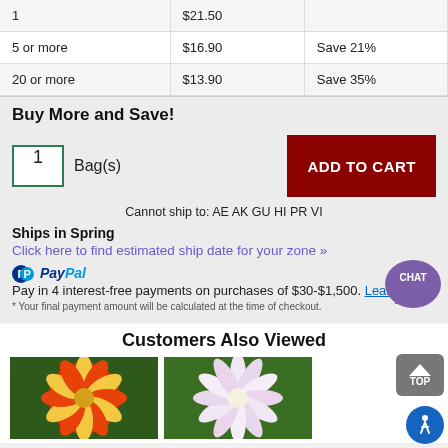| Quantity | Price | Savings |
| --- | --- | --- |
| 1 | $21.50 |  |
| 5 or more | $16.90 | Save 21% |
| 20 or more | $13.90 | Save 35% |
Buy More and Save!
Cannot ship to: AE AK GU HI PR VI
Ships in Spring
Click here to find estimated ship date for your zone »
Pay in 4 interest-free payments on purchases of $30-$1,500. Learn more
* Your final payment amount will be calculated at the time of checkout.
Customers Also Viewed
[Figure (photo): Red and yellow dahlia flower]
[Figure (photo): White/pink dahlia flower]